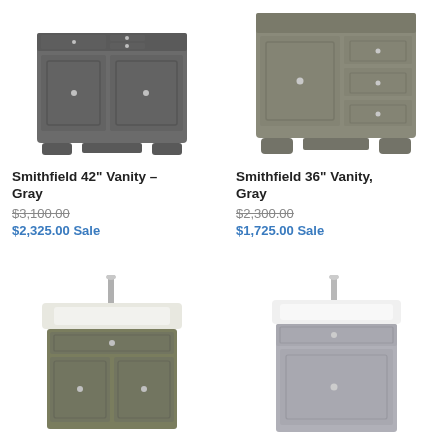[Figure (photo): Smithfield 42 inch bathroom vanity in gray, no sink top, two doors and two drawers on top]
Smithfield 42" Vanity – Gray
$3,100.00
$2,325.00 Sale
[Figure (photo): Smithfield 36 inch bathroom vanity in gray, one door on left and three drawers on right]
Smithfield 36" Vanity, Gray
$2,300.00
$1,725.00 Sale
[Figure (photo): Small bathroom vanity in olive/sage green with white sink top and chrome faucet, two doors and one drawer]
[Figure (photo): Small bathroom vanity in light gray with white sink top and chrome faucet, one door]